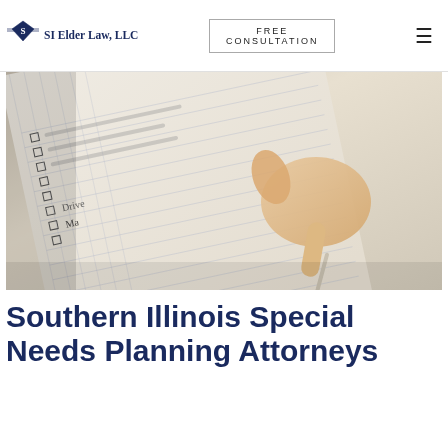SI Elder Law, LLC | FREE CONSULTATION
[Figure (photo): Close-up of a hand writing on a paper checklist/notepad with checkboxes]
Southern Illinois Special Needs Planning Attorneys